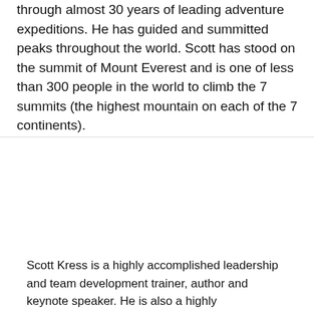through almost 30 years of leading adventure expeditions. He has guided and summitted peaks throughout the world. Scott has stood on the summit of Mount Everest and is one of less than 300 people in the world to climb the 7 summits (the highest mountain on each of the 7 continents).
[Figure (screenshot): Navigation tab bar with 5 buttons: About (active, white background with red border and red text), Talks (yellow), Videos (yellow), Books (yellow), Availability (yellow)]
Scott Kress is a highly accomplished leadership and team development trainer, author and keynote speaker. He is also a highly accomplished wilderness guide. He was recently elected to the College of Fellows of the Royal Canadian Geographic Society and is one of only 33...